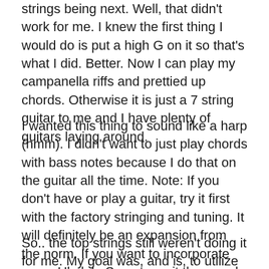strings being next. Well, that didn't work for me. I knew the first thing I would do is put a high G on it so that's what I did. Better. Now I can play my campanella riffs and prettied up chords. Otherwise it is just a 7 string guitar to me and I have plenty of guitars laying around.
I wanted this thing to sound like a harp (hmm). I didn't want to just play chords with bass notes because I do that on the guitar all the time. Note: If you don't have or play a guitar, try it first with the factory stringing and tuning. It will definitely be an expansion from the norm. If you want to incorporate some Ukelele Secrets on it then read on.
So.. the top strings still weren't doing it for me. My goal was, and is, to utilize reentrant tuning with campanella style somehow integrated into the bass notes.
I fished around and came up with (top down) C E A G. The